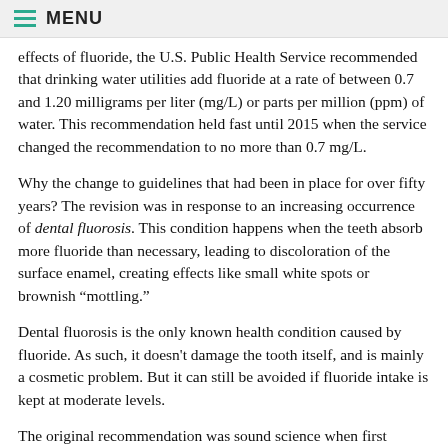MENU
effects of fluoride, the U.S. Public Health Service recommended that drinking water utilities add fluoride at a rate of between 0.7 and 1.20 milligrams per liter (mg/L) or parts per million (ppm) of water. This recommendation held fast until 2015 when the service changed the recommendation to no more than 0.7 mg/L.
Why the change to guidelines that had been in place for over fifty years? The revision was in response to an increasing occurrence of dental fluorosis. This condition happens when the teeth absorb more fluoride than necessary, leading to discoloration of the surface enamel, creating effects like small white spots or brownish “mottling.”
Dental fluorosis is the only known health condition caused by fluoride. As such, it doesn't damage the tooth itself, and is mainly a cosmetic problem. But it can still be avoided if fluoride intake is kept at moderate levels.
The original recommendation was sound science when first introduced. Since then, though, the prevalence of fluoride in everyday life has grown, with the chemical commonly found in